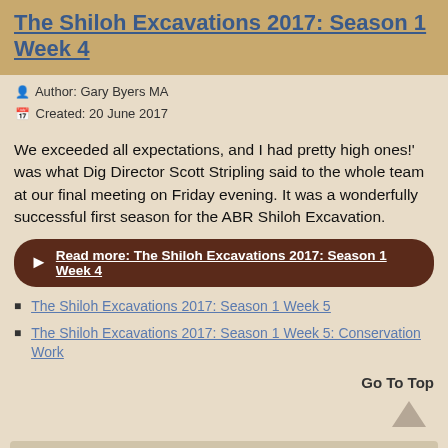The Shiloh Excavations 2017: Season 1 Week 4
Author: Gary Byers MA
Created: 20 June 2017
We exceeded all expectations, and I had pretty high ones!' was what Dig Director Scott Stripling said to the whole team at our final meeting on Friday evening. It was a wonderfully successful first season for the ABR Shiloh Excavation.
Read more: The Shiloh Excavations 2017: Season 1 Week 4
The Shiloh Excavations 2017: Season 1 Week 5
The Shiloh Excavations 2017: Season 1 Week 5: Conservation Work
Go To Top
NEW ARTICLES
Top Ten Discoveries Related to Moses and the Exodus